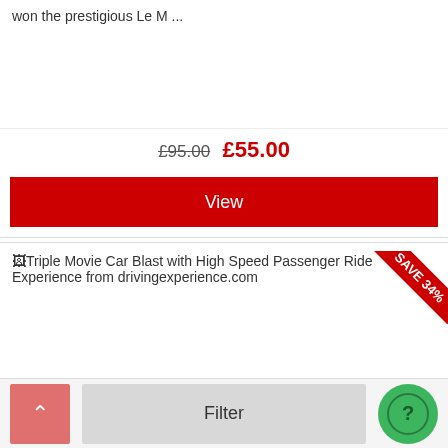won the prestigious Le M ...
£95.00  £55.00
View
[Figure (screenshot): Product listing image placeholder for Triple Movie Car Blast with High Speed Passenger Ride Experience from drivingexperience.com, with a red SAVE 34% ribbon in the top-right corner.]
Triple Movie Car Blast with High Speed Passenger Ride Experience from drivingexperience.com
Filter